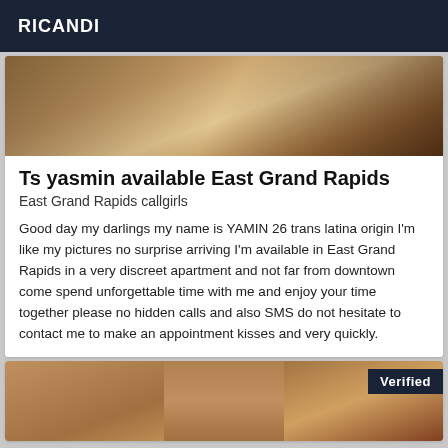RICANDI
[Figure (photo): Close-up photo showing part of a person's body]
Ts yasmin available East Grand Rapids
East Grand Rapids callgirls
Good day my darlings my name is YAMIN 26 trans latina origin I'm like my pictures no surprise arriving I'm available in East Grand Rapids in a very discreet apartment and not far from downtown come spend unforgettable time with me and enjoy your time together please no hidden calls and also SMS do not hesitate to contact me to make an appointment kisses and very quickly.
[Figure (photo): Photo with Verified badge in top right corner]